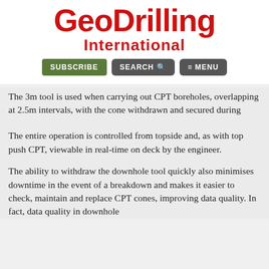[Figure (logo): GeoDrilling International logo in red bold text]
SUBSCRIBE   SEARCH   MENU
The 3m tool is used when carrying out CPT boreholes, overlapping at 2.5m intervals, with the cone withdrawn and secured during drilling to test depth. In harder materials, the shorter 1.5m tool can be used, which has higher pushing capabilities.
The entire operation is controlled from topside and, as with top push CPT, viewable in real-time on deck by the engineer.
The ability to withdraw the downhole tool quickly also minimises downtime in the event of a breakdown and makes it easier to check, maintain and replace CPT cones, improving data quality. In fact, data quality in downhole